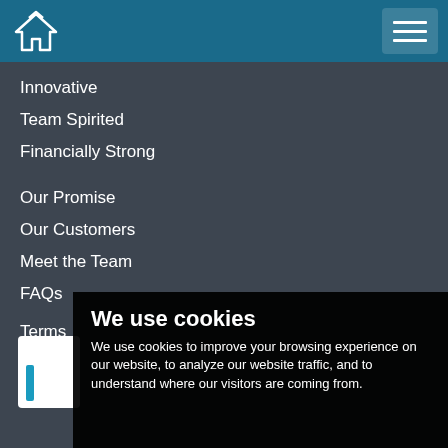Home icon and hamburger menu
Innovative
Team Spirited
Financially Strong
Our Promise
Our Customers
Meet the Team
FAQs
Terms
Priva[cy]
Cook[ies]
We use cookies
We use cookies to improve your browsing experience on our website, to analyze our website traffic, and to understand where our visitors are coming from.